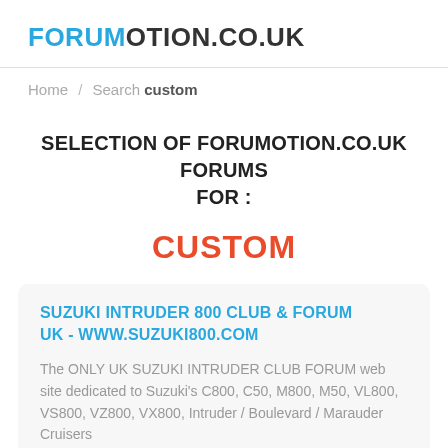FORUMOTION.CO.UK
Home / Search custom
SELECTION OF FORUMOTION.CO.UK FORUMS FOR :
CUSTOM
SUZUKI INTRUDER 800 CLUB & FORUM UK - WWW.SUZUKI800.COM
The ONLY UK SUZUKI INTRUDER CLUB FORUM web site dedicated to Suzuki's C800, C50, M800, M50, VL800, VS800, VZ800, VX800, Intruder / Boulevard / Marauder Cruisers
#cruiser  #suzuki  #decal  #intruder  #c800